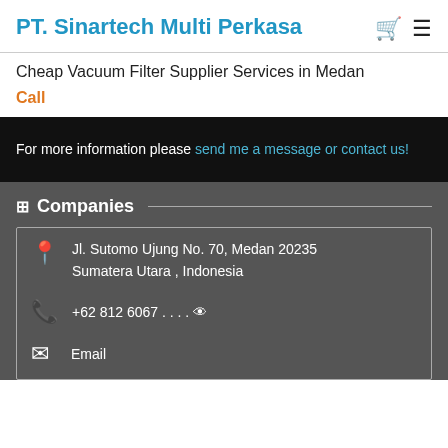PT. Sinartech Multi Perkasa
Cheap Vacuum Filter Supplier Services in Medan
Call
For more information please send me a message or contact us!
Companies
Jl. Sutomo Ujung No. 70, Medan 20235 Sumatera Utara , Indonesia
+62 812 6067 . . . .
Email